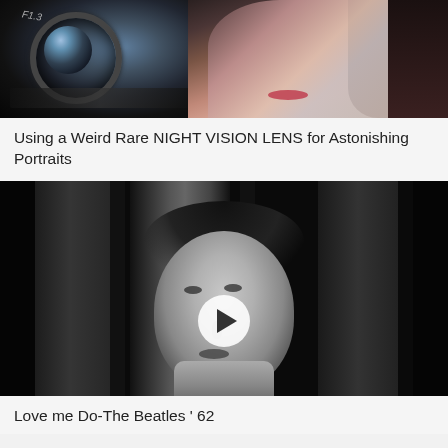[Figure (photo): Close-up photo of a camera lens with colorful reflections alongside a woman's face/portrait]
Using a Weird Rare NIGHT VISION LENS for Astonishing Portraits
[Figure (photo): Black and white video thumbnail of a young man (resembling Paul McCartney) looking upward, with a play button overlay]
Love me Do-The Beatles ' 62